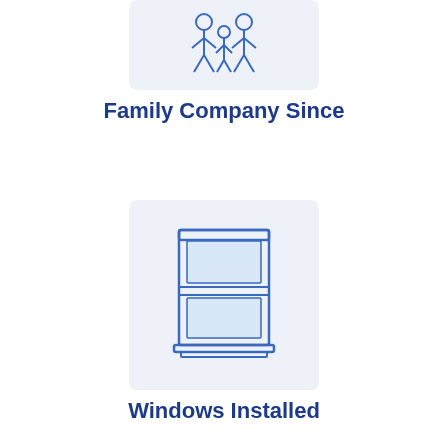[Figure (illustration): Blue line-art icon of a family (two adults and a child) on a light gray-blue background square]
Family Company Since
[Figure (illustration): Blue line-art icon of a window (double-hung window with sill) on a light gray-blue background square]
Windows Installed